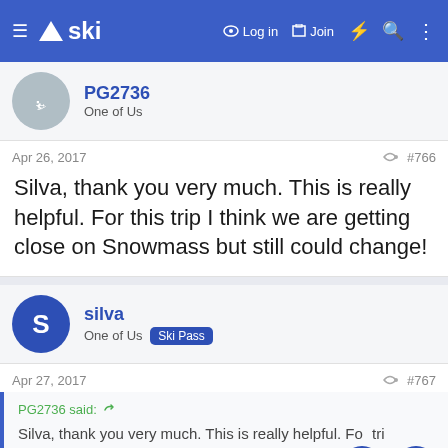ski — Log in  Join
PG2736
One of Us
Apr 26, 2017  #766
Silva, thank you very much. This is really helpful. For this trip I think we are getting close on Snowmass but still could change!
silva
One of Us  Ski Pass
Apr 27, 2017  #767
PG2736 said:
Silva, thank you very much. This is really helpful. For this trip I think we are getting close on Snowmass but still could change!